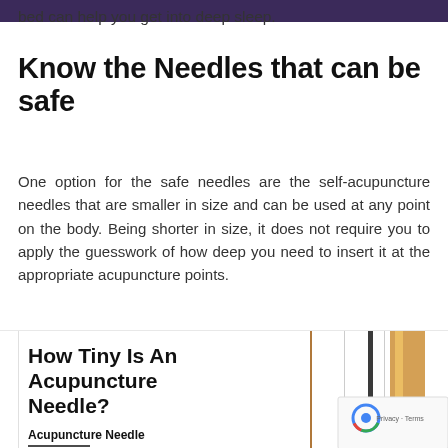bed can help you get into deep sleep.
Know the Needles that can be safe
One option for the safe needles are the self-acupuncture needles that are smaller in size and can be used at any point on the body. Being shorter in size, it does not require you to apply the guesswork of how deep you need to insert it at the appropriate acupuncture points.
[Figure (infographic): Infographic showing 'How Tiny Is An Acupuncture Needle?' with thin and thick needle comparisons side by side. Label at bottom: Acupuncture Needle. Google reCAPTCHA badge visible at bottom right.]